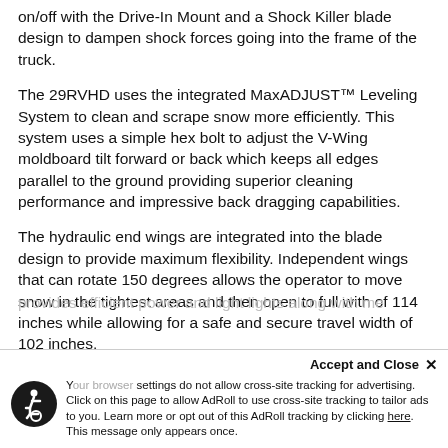on/off with the Drive-In Mount and a Shock Killer blade design to dampen shock forces going into the frame of the truck.
The 29RVHD uses the integrated MaxADJUST™ Leveling System to clean and scrape snow more efficiently. This system uses a simple hex bolt to adjust the V-Wing moldboard tilt forward or back which keeps all edges parallel to the ground providing superior cleaning performance and impressive back dragging capabilities.
The hydraulic end wings are integrated into the blade design to provide maximum flexibility. Independent wings that can rotate 150 degrees allows the operator to move snow in the tightest areas and then open to full with of 114 inches while allowing for a safe and secure travel width of 102 inches.
provides efficient power and light lights along with me
Accept and Close ✕  Your browser settings do not allow cross-site tracking for advertising. Click on this page to allow AdRoll to use cross-site tracking to tailor ads to you. Learn more or opt out of this AdRoll tracking by clicking here. This message only appears once.